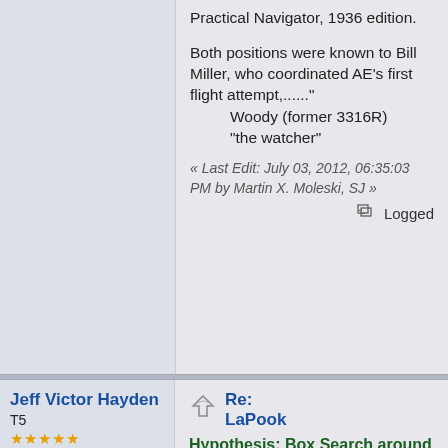Practical Navigator, 1936 edition.
Both positions were known to Bill Miller, who coordinated AE's first flight attempt,......"
Woody (former 3316R)
"the watcher"
« Last Edit: July 03, 2012, 06:35:03 PM by Martin X. Moleski, SJ »
Logged
Jeff Victor Hayden
T5
Posts: 1387
Re: LaPook
Hypothesis: Box Search around 157-337
« Reply #68 on: June 29, 2012, 05:31:46 PM »